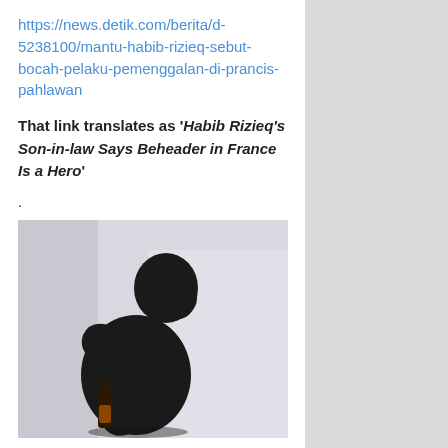https://news.detik.com/berita/d-5238100/mantu-habib-rizieq-sebut-bocah-pelaku-pemenggalan-di-prancis-pahlawan
That link translates as ‘Habib Rizieq’s Son-in-law Says Beheader in France Is a Hero’
.
[Figure (photo): Silhouette of a person with head down holding a bottle, against a light gray background]
Share this:
Tweet